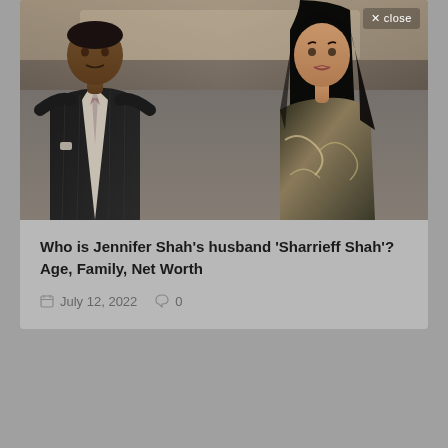[Figure (photo): Photo of a couple: a man in a dark pinstripe suit with a light tie on the left, and a woman in a black and gold patterned dress with long dark hair on the right. A 'X close' button appears in the top-right corner.]
Who is Jennifer Shah's husband 'Sharrieff Shah'? Age, Family, Net Worth
July 12, 2022   0